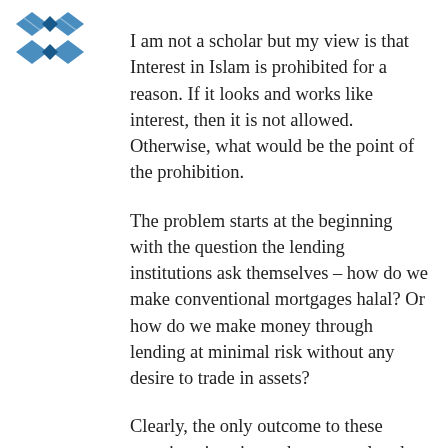[Figure (logo): Blue diamond/cross geometric logo mark]
I am not a scholar but my view is that Interest in Islam is prohibited for a reason. If it looks and works like interest, then it is not allowed. Otherwise, what would be the point of the prohibition.
The problem starts at the beginning with the question the lending institutions ask themselves – how do we make conventional mortgages halal? Or how do we make money through lending at minimal risk without any desire to trade in assets?
Clearly, the only outcome to these questions is going to be a convoluted scheme of one sort or another. Multiple